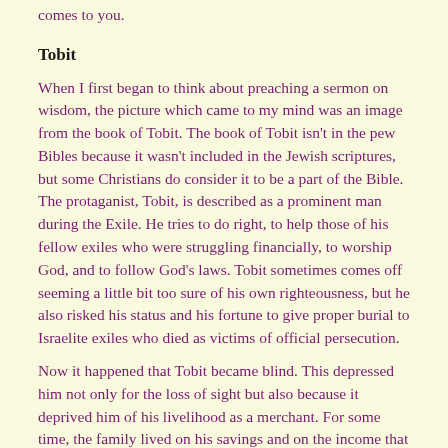comes to you.
Tobit
When I first began to think about preaching a sermon on wisdom, the picture which came to my mind was an image from the book of Tobit. The book of Tobit isn't in the pew Bibles because it wasn't included in the Jewish scriptures, but some Christians do consider it to be a part of the Bible. The protaganist, Tobit, is described as a prominent man during the Exile. He tries to do right, to help those of his fellow exiles who were struggling financially, to worship God, and to follow God's laws. Tobit sometimes comes off seeming a little bit too sure of his own righteousness, but he also risked his status and his fortune to give proper burial to Israelite exiles who died as victims of official persecution.
Now it happened that Tobit became blind. This depressed him not only for the loss of sight but also because it deprived him of his livelihood as a merchant. For some time, the family lived on his savings and on the income that Tobit's wife Edna could bring in from sewing and other piece work.
Part of Tobit's savings was on deposit in Media, a fairly considerable amount of money, in fact. They didn't have wire